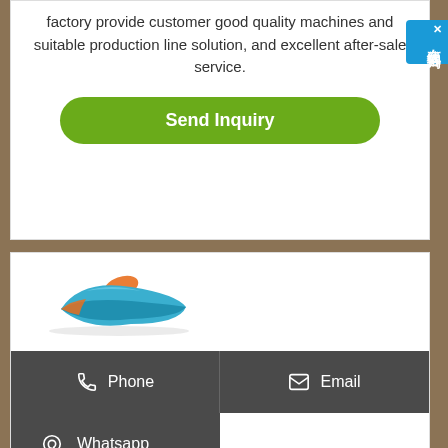factory provide customer good quality machines and suitable production line solution, and excellent after-sale service.
[Figure (other): Green rounded 'Send Inquiry' button]
[Figure (other): Blue overlay Chinese chat widget with text: 在线咨询]
[Figure (photo): Product image showing blue and orange item]
Phone
Email
Whatsapp